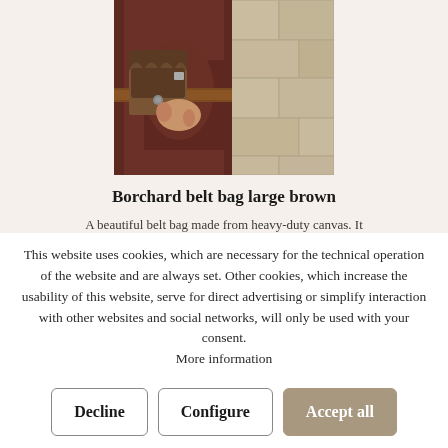[Figure (photo): Photo of a person wearing a brown medieval-style belt bag on a dark red tunic, with a stone wall in the background]
Borchard belt bag large brown
A beautiful belt bag made from heavy-duty canvas. It
This website uses cookies, which are necessary for the technical operation of the website and are always set. Other cookies, which increase the usability of this website, serve for direct advertising or simplify interaction with other websites and social networks, will only be used with your consent. More information
Decline
Configure
Accept all